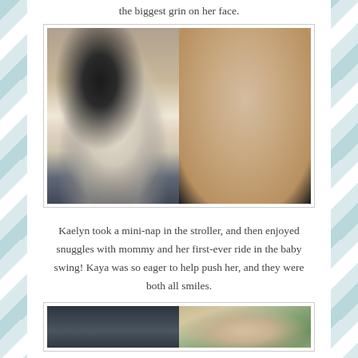the biggest grin on her face.
[Figure (photo): Two photos side by side: left shows a toddler in a black hoodie and helmet sitting on a ride-on airplane toy at a playground; right shows the same toddler sitting inside a large tan tube slide.]
Kaelyn took a mini-nap in the stroller, and then enjoyed snuggles with mommy and her first-ever ride in the baby swing! Kaya was so eager to help push her, and they were both all smiles.
[Figure (photo): Two photos side by side: left shows a close-up of a person in dark clothing; right shows a person wearing a camouflage cap outdoors.]